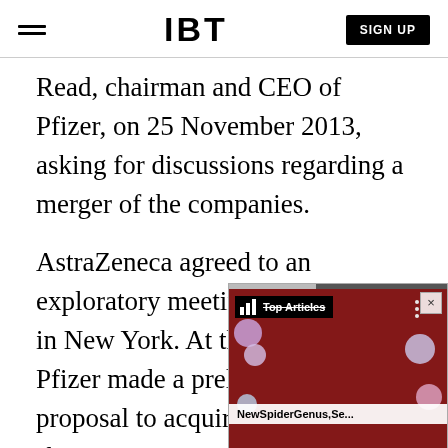IBT
Read, chairman and CEO of Pfizer, on 25 November 2013, asking for discussions regarding a merger of the companies.
AstraZeneca agreed to an exploratory meeting on 5 January in New York. At this meeting, Pfizer made a preliminary proposal to acquire AstraZeneca shares at £46.61 a piece in a the company said.
[Figure (screenshot): An advertisement overlay showing 'Top Articles' label with 'NewSpiderGenus,Se...' subtitle over a decorative background with a face and colorful circles, with a close button (×) and three-dot menu.]